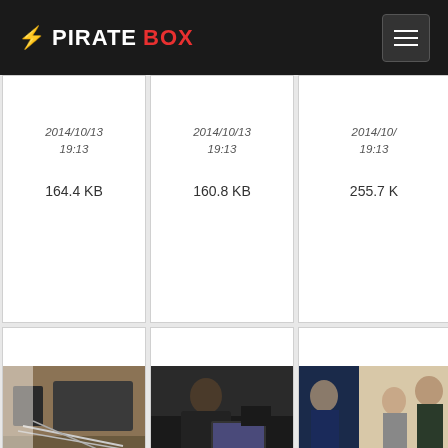⚡ PIRATEBOX
[Figure (screenshot): PirateBox website file gallery showing image thumbnail cards in a grid layout. Top row shows partial cards with dates 2014/10/13 19:13 and file sizes 164.4 KB, 160.8 KB, 255.7 KB. Middle row shows full cards with photos: electronics/cables on desk, man working on laptop, group of people, with links piratebox.c..., dimensions 1200×800, dates 2014/10/13 19:13, and sizes 154.4 KB, 126.5 KB, 175.6 KB. Bottom row partially visible.]